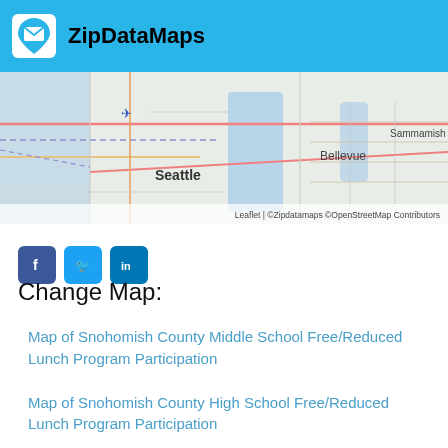ZipDataMaps
[Figure (map): Street map showing Seattle, Bellevue, and Sammamish area with roads and waterways. Attribution: Leaflet | ©Zipdatamaps ©OpenStreetMap Contributors]
Change Map:
Map of Snohomish County Middle School Free/Reduced Lunch Program Participation
Map of Snohomish County High School Free/Reduced Lunch Program Participation